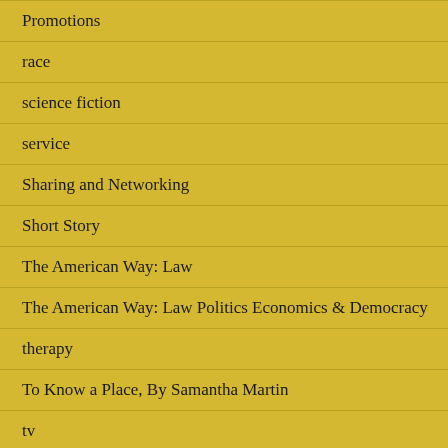Promotions
race
science fiction
service
Sharing and Networking
Short Story
The American Way: Law
The American Way: Law Politics Economics & Democracy
therapy
To Know a Place, By Samantha Martin
tv
Uncategorized